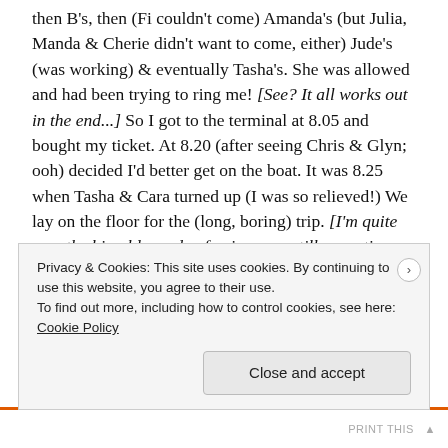then B's, then (Fi couldn't come) Amanda's (but Julia, Manda & Cherie didn't want to come, either) Jude's (was working) & eventually Tasha's. She was allowed and had been trying to ring me! [See? It all works out in the end...] So I got to the terminal at 8.05 and bought my ticket. At 8.20 (after seeing Chris & Glyn; ooh) decided I'd better get on the boat. It was 8.25 when Tasha & Cara turned up (I was so relieved!) We lay on the floor for the (long, boring) trip. [I'm quite sure the big old wooden ferries were still operating back then, even though newer catamarans had been added to the fleet. The old ferry rides took longer and were less luxurious so were cheaper.
Privacy & Cookies: This site uses cookies. By continuing to use this website, you agree to their use.
To find out more, including how to control cookies, see here:
Cookie Policy
Close and accept